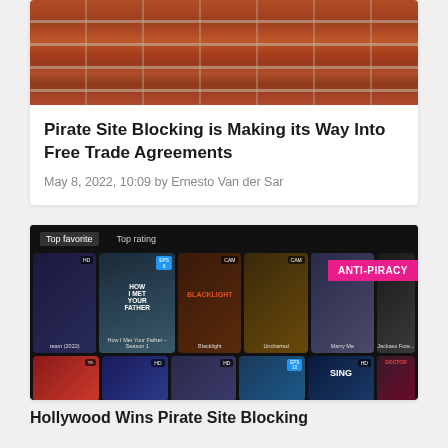[Figure (photo): Brick wall texture image at top of first article card]
Pirate Site Blocking is Making its Way Into Free Trade Agreements
May 8, 2022, 10:09 by Ernesto Van der Sar
[Figure (screenshot): Screenshot of a pirate streaming website showing movie thumbnails including How I Met Your Father Season 1, Blacklight, Uncharted, Marry Me, and Jackass Forever, with an ANTI-PIRACY badge overlaid in the top right]
Hollywood Wins Pirate Site Blocking